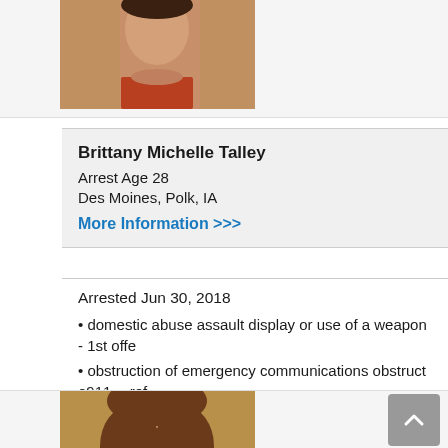[Figure (photo): Mugshot of a person wearing an orange jumpsuit, partially visible at top of page]
Brittany Michelle Talley
Arrest Age 28
Des Moines, Polk, IA
More Information >>>
Arrested Jun 30, 2018
domestic abuse assault display or use of a weapon - 1st offe
obstruction of emergency communications obstruct e911 -- ref
[Figure (photo): Mugshot of a woman with curly hair, partially visible at bottom of page]